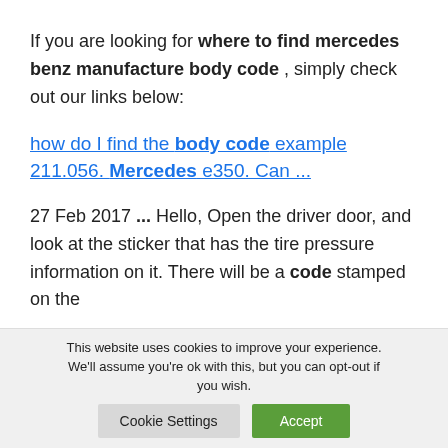If you are looking for where to find mercedes benz manufacture body code , simply check out our links below:
how do I find the body code example 211.056. Mercedes e350. Can ...
27 Feb 2017 ... Hello, Open the driver door, and look at the sticker that has the tire pressure information on it. There will be a code stamped on the
This website uses cookies to improve your experience. We'll assume you're ok with this, but you can opt-out if you wish.